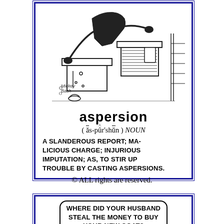[Figure (illustration): Cartoon illustration by Mickey Bach showing a person at a desk, with items being flung/thrown, above a dictionary-style entry for 'aspersion']
aspersion (ăs-pûr'shŭn) NOUN A SLANDEROUS REPORT; MALICIOUS CHARGE; INJURIOUS IMPUTATION; AS, TO STIR UP TROUBLE BY CASTING ASPERSIONS.
© ALL rights are reserved.
[Figure (illustration): Speech bubble in a cartoon saying: WHERE DID YOUR HUSBAND STEAL THE MONEY TO BUY YOUR NEW COAT?]